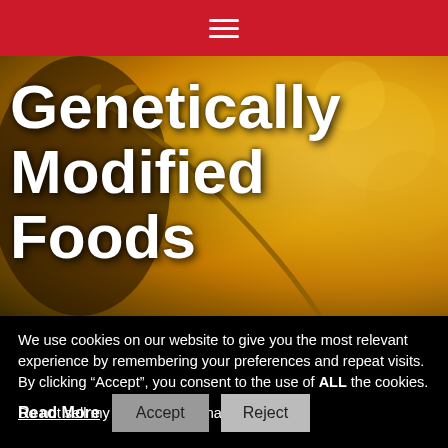≡
[Figure (photo): Hero image with golden wheat/grain background and bold white text reading 'Genetically Modified Foods']
Genetically Modified Foods
We use cookies on our website to give you the most relevant experience by remembering your preferences and repeat visits. By clicking “Accept”, you consent to the use of ALL the cookies.
Do not sell my personal information.
Read More  Accept  Reject